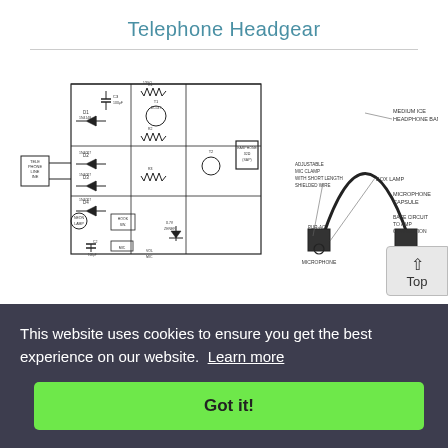Telephone Headgear
[Figure (circuit-diagram): Electronic circuit schematic for telephone headgear showing components including transistors, diodes, capacitors, resistors, and labeled nodes such as TELEPHONE LINE, BOX SWITCH, and EARPHONE.]
[Figure (schematic): Diagram of a telephone headset/headgear assembly showing MEDIUM ICE HEADPHONE BAND, BOX LAMP, MICROPHONE CAPSULE, BASE CIRCUIT TO AMP CONNECTION, ADJUSTABLE MIC CLAMP WITH SHORT LENGTH SHIELDED WIRE, and MICROPHONE labels with curved band illustration.]
This website uses cookies to ensure you get the best experience on our website.  Learn more
Got it!
onent
dily